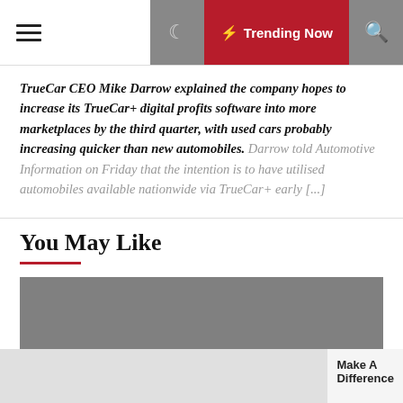Trending Now
TrueCar CEO Mike Darrow explained the company hopes to increase its TrueCar+ digital profits software into more marketplaces by the third quarter, with used cars probably increasing quicker than new automobiles. Darrow told Automotive Information on Friday that the intention is to have utilised automobiles available nationwide via TrueCar+ early [...]
You May Like
[Figure (photo): Gray placeholder image for a related article]
Make A Difference